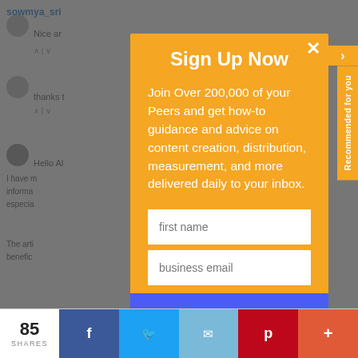[Figure (screenshot): Background webpage showing comment section with usernames 'sowmya_sri', comment text 'Nice ar...', 'thanks t...', 'Hello Al...', 'I have m... informa... especia...', 'The arti... benefic...' partially visible behind an orange modal popup]
Sign Up Now
Join Over 200,000 of your Peers and get how-to guidance and advice on content creation, distribution, measurement, and more delivered daily to your inbox.
first name
business email
Sign Up Now
Recommended for you
85 SHARES